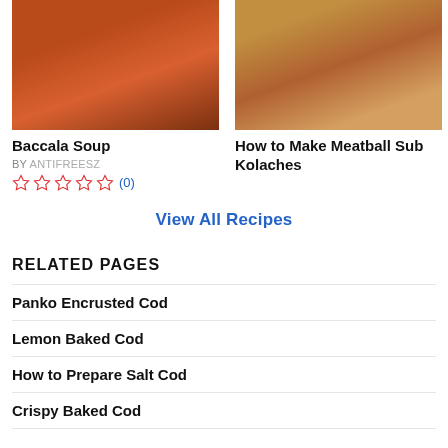[Figure (photo): Bowl of Baccala Soup with tomato broth and green herbs, top-down view]
[Figure (photo): How to Make Meatball Sub Kolaches - baked rolls with meatballs and cheese, top-down view]
Baccala Soup
BY ANTIFREESZ
☆☆☆☆☆ (0)
How to Make Meatball Sub Kolaches
View All Recipes
RELATED PAGES
Panko Encrusted Cod
Lemon Baked Cod
How to Prepare Salt Cod
Crispy Baked Cod